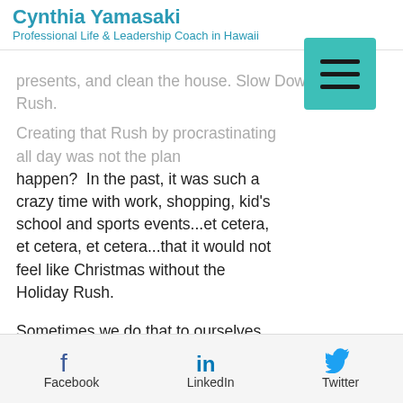Cynthia Yamasaki
Professional Life & Leadership Coach in Hawaii
presents, and clean the house. Slow Down Holiday Rush.

Creating that Rush by procrastinating all day was not the plan. Did it happen? In the past, it was such a crazy time with work, shopping, kid's school and sports events...et cetera, et cetera, et cetera...that it would not feel like Christmas without the Holiday Rush.

Sometimes we do that to ourselves. Procrastinate and let things get crazy and at the final hour, rush to get them done. Not because we are unorganized or don't want to do it.
Facebook  LinkedIn  Twitter